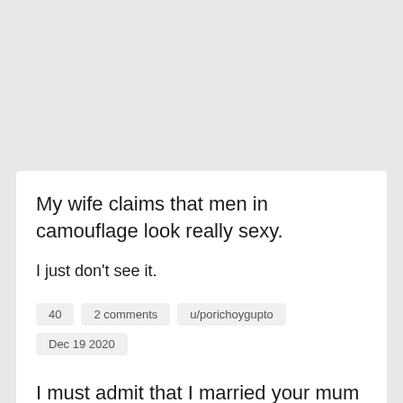My wife claims that men in camouflage look really sexy.
I just don’t see it.
40   2 comments   u/porichoygupto   Dec 19 2020
report
I must admit that I married your mum for